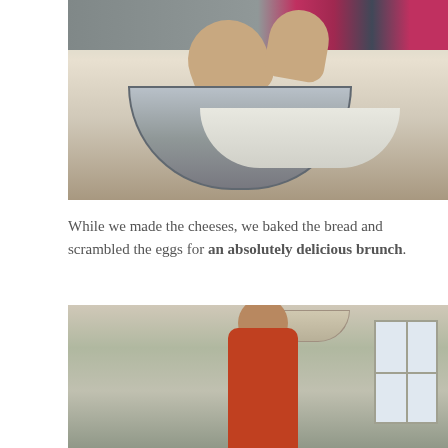[Figure (photo): A person mixing or kneading white cheese curds in a large stainless steel bowl on a kitchen counter. The person is wearing a gray shirt and a plaid flannel shirt. The kitchen counter is light blue/teal.]
While we made the cheeses, we baked the bread and scrambled the eggs for an absolutely delicious brunch.
[Figure (photo): A man wearing an orange shirt and a baseball cap standing in a kitchen, smiling at the camera. The kitchen has sage green cabinets, a hanging light fixture, and a window on the right side.]